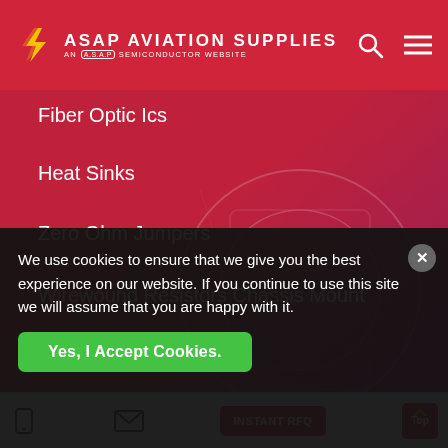ASAP AVIATION SUPPLIES - AN A.S.A.P SEMICONDUCTOR WEBSITE
Fiber Optic Ics
Heat Sinks
Zero Ohm Jumpers
Wirewound Resistors Chassis Mount
Buffer Amplifier Ics
Connector Adapters
Voltage Dependent Resistor
Aircraft Interior Parts and Accessories
We use cookies to ensure that we give you the best experience on our website. If you continue to use this site we will assume that you are happy with it.
Yes, I Accept Cookies.